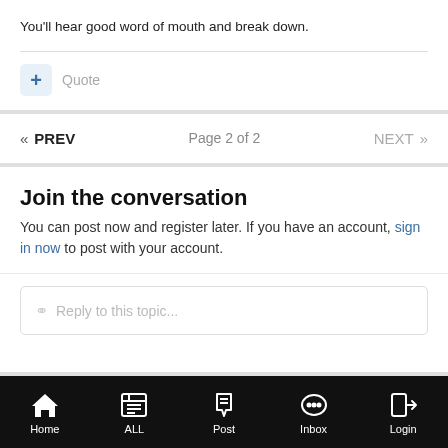You'll hear good word of mouth and break down.
Quote
« PREV   Page 2 of 2   NEXT »
Join the conversation
You can post now and register later. If you have an account, sign in now to post with your account.
Reply to this topic...
Home   ALL   Post   Inbox   Login